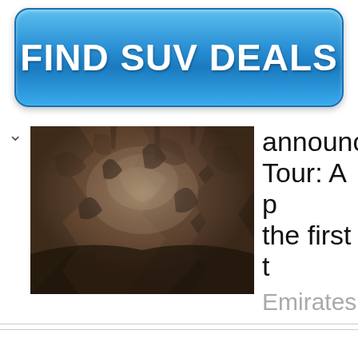[Figure (other): Blue glossy button/banner advertisement reading FIND SUV DEALS in bold white text]
[Figure (photo): Sepia-toned photograph of rocky cave interior with light filtering through crevices]
announc Tour: A p the first t Emirates